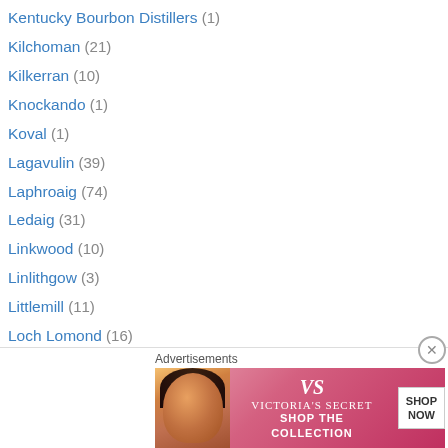Kentucky Bourbon Distillers (1)
Kilchoman (21)
Kilkerran (10)
Knockando (1)
Koval (1)
Lagavulin (39)
Laphroaig (74)
Ledaig (31)
Linkwood (10)
Linlithgow (3)
Littlemill (11)
Loch Lomond (16)
Lochside (3)
Longmorn (26)
Longrow (15)
Macallan (7)
Macduff (1)
Advertisements
[Figure (illustration): Victoria's Secret advertisement banner with model and 'SHOP THE COLLECTION / SHOP NOW' text]